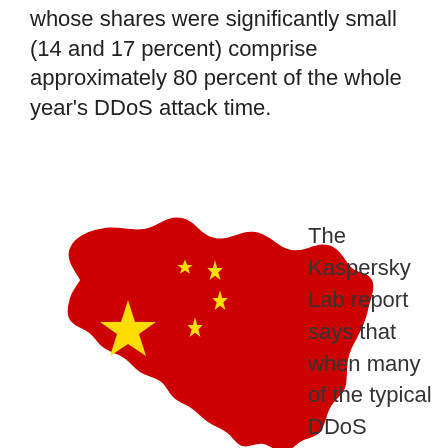whose shares were significantly small (14 and 17 percent) comprise approximately 80 percent of the whole year's DDoS attack time.
[Figure (map): Map of China in red with yellow stars (Chinese flag pattern overlay) — a red silhouette of China with one large yellow star and four smaller yellow stars arranged as on the Chinese flag.]
The Kaspersky Lab report says that when many of the typical DDoS attacks